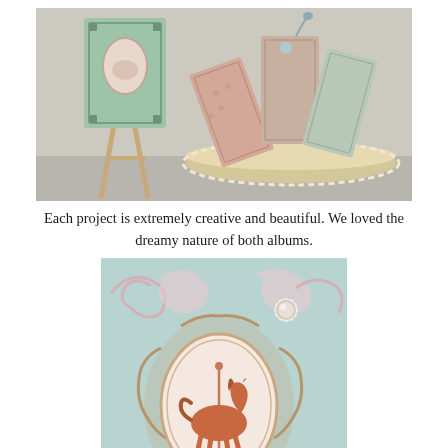[Figure (photo): A crafted scrapbook scene: a mint green book on a wooden easel on the left, and a decorative circular carousel-themed album with patterned pages open on the right, sitting on a doily-trimmed base.]
Each project is extremely creative and beautiful. We loved the dreamy nature of both albums.
[Figure (photo): Close-up of a carousel-themed decorative card with a light blue background, ornate baroque scroll embellishments in pink and gold, a white daisy flower with pearl center, and an oval cameo frame containing a coral-colored carousel horse silhouette.]